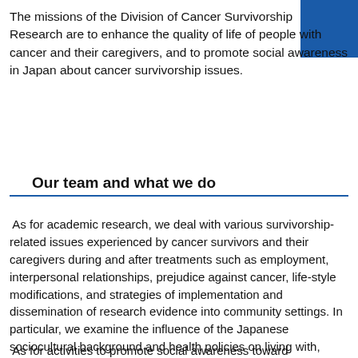The missions of the Division of Cancer Survivorship Research are to enhance the quality of life of people with cancer and their caregivers, and to promote social awareness in Japan about cancer survivorship issues.
Our team and what we do
As for academic research, we deal with various survivorship-related issues experienced by cancer survivors and their caregivers during and after treatments such as employment, interpersonal relationships, prejudice against cancer, life-style modifications, and strategies of implementation and dissemination of research evidence into community settings. In particular, we examine the influence of the Japanese sociocultural background and health policies on living with, through and beyond cancer, and try to propose countermeasures based on the research findings.
As for activities to promote social awareness toward